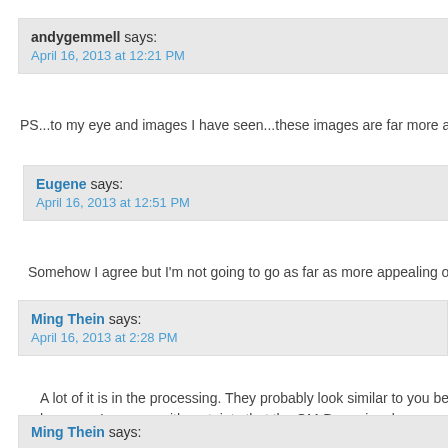andygemmell says:
April 16, 2013 at 12:21 PM
PS...to my eye and images I have seen...these images are far more a
Eugene says:
April 16, 2013 at 12:51 PM
Somehow I agree but I’m not going to go as far as more appealing o
Ming Thein says:
April 16, 2013 at 2:28 PM
A lot of it is in the processing. They probably look similar to you be however, I can say with certainty that the OM-D requires less corre
Ming Thein says: